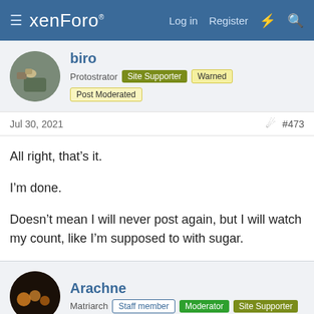xenForo — Log in | Register
biro
Protostrator  Site Supporter  Warned  Post Moderated
Jul 30, 2021  #473
All right, that's it.

I'm done.

Doesn't mean I will never post again, but I will watch my count, like I'm supposed to with sugar.
Arachne
Matriarch  Staff member  Moderator  Site Supporter
Jul 30, 2021  #474